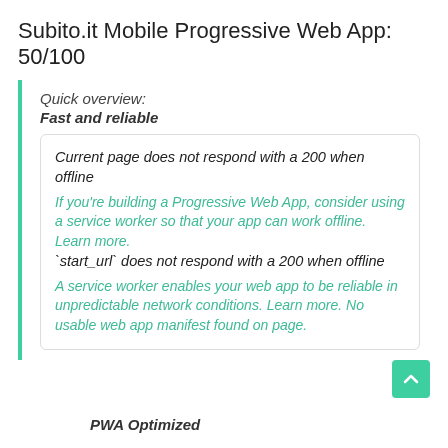Subito.it Mobile Progressive Web App: 50/100
Quick overview:
Fast and reliable
Current page does not respond with a 200 when offline
If you're building a Progressive Web App, consider using a service worker so that your app can work offline. Learn more.
`start_url` does not respond with a 200 when offline
A service worker enables your web app to be reliable in unpredictable network conditions. Learn more. No usable web app manifest found on page.
PWA Optimized